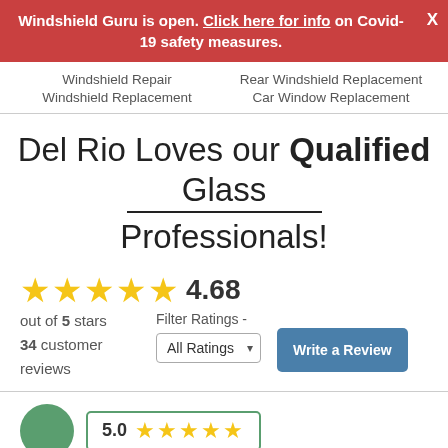Windshield Guru is open. Click here for info on Covid-19 safety measures.
Windshield Repair
Windshield Replacement
Rear Windshield Replacement
Car Window Replacement
Del Rio Loves our Qualified Glass Professionals!
★★★★★ 4.68
out of 5 stars
34 customer reviews
Filter Ratings - All Ratings
Write a Review
[Figure (other): Bottom of page showing start of a customer review with green avatar circle and 5.0 star rating]